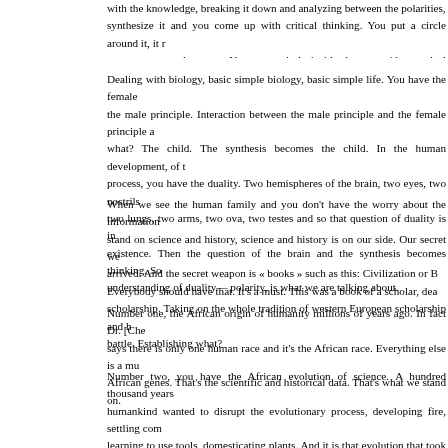with the knowledge, breaking it down and analyzing between the polarities, synthesize it and you come up with critical thinking. You put a circle around it, it r systems, external system. You put a circle inside the pyramid, you deal with internal
Dealing with biology, basic simple biology, basic simple life. You have the female the male principle. Interaction between the male principle and the female principle a what? The child. The synthesis becomes the child. In the human development, of t process, you have the duality. Two hemispheres of the brain, two eyes, two nostrils two lungs, two arms, two ova, two testes and so that question of duality is in existence. Then the question of the brain and the synthesis becomes thinking. So understanding of duality— polarity, is what we are talking about.
When we see the human family and you don't have the worry about the information stand on science and history, science and history is on our side. Our secret we arrived. And the secret weapon is « books » such as this: Civilization or B Everybody should have that. It's a must. This was a book of a scholar, dea scholarship. Taking on the whole tradition of western European scholarship and h battle. Establishing what?
Number one, the African origin of humanity millions of years ago. In fact Dr. [Che says there is only one human race and it's the African race. Everything else is a mu African genes. That's the scientific and historical data. That's what we stand on.
Number two, you have the African evolution of science. A hundred thousand years humankind wanted to disrupt the evolutionary process, developing fire, settling com learning to use tools, domesticating plants. And it is that evolution that took place the Sun Belt that produces:
...